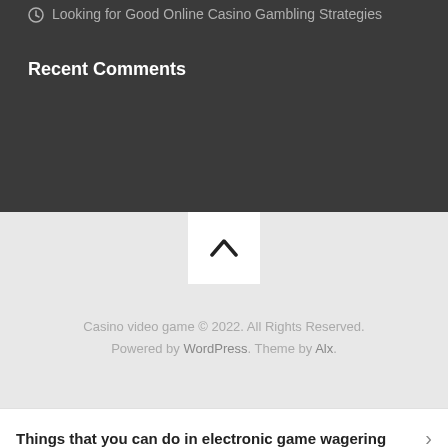Looking for Good Online Casino Gambling Strategies
Recent Comments
[Figure (other): Scroll-to-top button with chevron up arrow on light grey background]
Casino video game © 2022. All Rights Reserved. Powered by WordPress. Theme by Alx.
Things that you can do in electronic game wagering
Things about employing the escorts